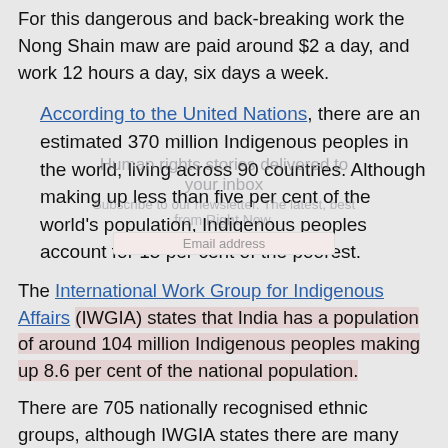For this dangerous and back-breaking work the Nong Shain maw are paid around $2 a day, and work 12 hours a day, six days a week.
According to the United Nations, there are an estimated 370 million Indigenous peoples in the world, living across 90 countries. Although making up less than five per cent of the world's population, Indigenous peoples account for 15 per cent of the poorest.
The International Work Group for Indigenous Affairs (IWGIA) states that India has a population of around 104 million Indigenous peoples making up 8.6 per cent of the national population.
There are 705 nationally recognised ethnic groups, although IWGIA states there are many more.
The Khasi became part of India during British colonisation